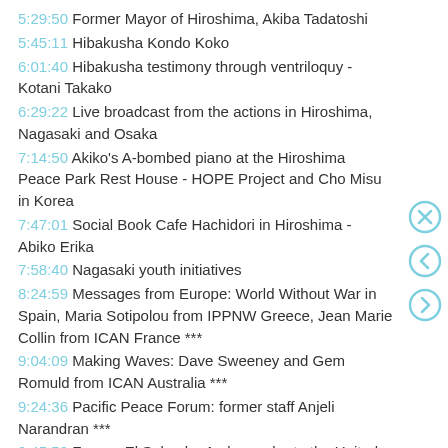5:29:50    Former Mayor of Hiroshima, Akiba Tadatoshi
5:45:11    Hibakusha Kondo Koko
6:01:40    Hibakusha testimony through ventriloquy - Kotani Takako
6:29:22    Live broadcast from the actions in Hiroshima, Nagasaki and Osaka
7:14:50    Akiko's A-bombed piano at the Hiroshima Peace Park Rest House - HOPE Project and Cho Misu in Korea
7:47:01    Social Book Cafe Hachidori in Hiroshima - Abiko Erika
7:58:40    Nagasaki youth initiatives
8:24:59    Messages from Europe: World Without War in Spain, Maria Sotipolou from IPPNW Greece, Jean Marie Collin from ICAN France ***
9:04:09    Making Waves: Dave Sweeney and Gem Romuld from ICAN Australia ***
9:24:36    Pacific Peace Forum: former staff Anjeli Narandran ***
9:45:50    Former El Salvador Ambassador to the United Nations Ruben Escalante Hasbun ***
10:01:28    Live virtual tour of the Maruki Gallery for the Hiroshima Panels